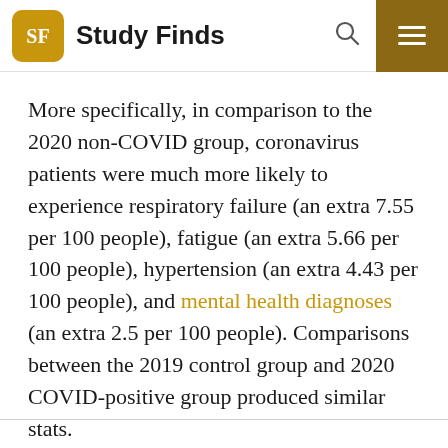Study Finds
More specifically, in comparison to the 2020 non-COVID group, coronavirus patients were much more likely to experience respiratory failure (an extra 7.55 per 100 people), fatigue (an extra 5.66 per 100 people), hypertension (an extra 4.43 per 100 people), and mental health diagnoses (an extra 2.5 per 100 people). Comparisons between the 2019 control group and 2020 COVID-positive group produced similar stats.